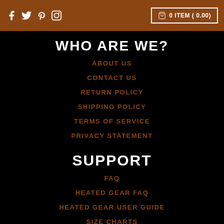Social icons: f, Twitter, Pinterest, Instagram | 0 ITEM ( 0.00)
WHO ARE WE?
ABOUT US
CONTACT US
RETURN POLICY
SHIPPING POLICY
TERMS OF SERVICE
PRIVACY STATEMENT
SUPPORT
FAQ
HEATED GEAR FAQ
HEATED GEAR USER GUIDE
SIZE CHARTS